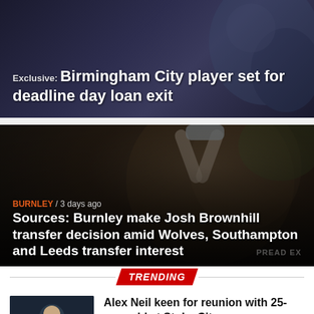[Figure (photo): Dark background card showing Birmingham City branded article image with headline text overlay]
Exclusive: Birmingham City player set for deadline day loan exit
[Figure (photo): Football player with arms raised above head against dark blurred stadium background, Burnley article card]
BURNLEY / 3 days ago
Sources: Burnley make Josh Brownhill transfer decision amid Wolves, Southampton and Leeds transfer interest
TRENDING
[Figure (photo): Small thumbnail of footballer in blue kit]
Alex Neil keen for reunion with 25-year-old at Stoke City